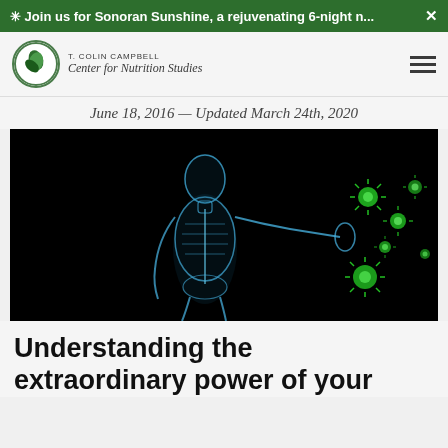✳ Join us for Sonoran Sunshine, a rejuvenating 6-night n...
[Figure (logo): T. Colin Campbell Center for Nutrition Studies logo with green leaf emblem]
June 18, 2016 — Updated March 24th, 2020
[Figure (illustration): Blue x-ray human figure with outstretched arm blocking green virus particles against black background]
Understanding the extraordinary power of your